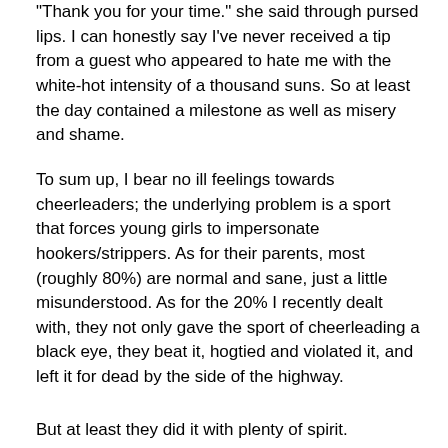“Thank you for your time.” she said through pursed lips. I can honestly say I’ve never received a tip from a guest who appeared to hate me with the white-hot intensity of a thousand suns. So at least the day contained a milestone as well as misery and shame.
To sum up, I bear no ill feelings towards cheerleaders; the underlying problem is a sport that forces young girls to impersonate hookers/strippers. As for their parents, most (roughly 80%) are normal and sane, just a little misunderstood. As for the 20% I recently dealt with, they not only gave the sport of cheerleading a black eye, they beat it, hogtied and violated it, and left it for dead by the side of the highway.
But at least they did it with plenty of spirit.